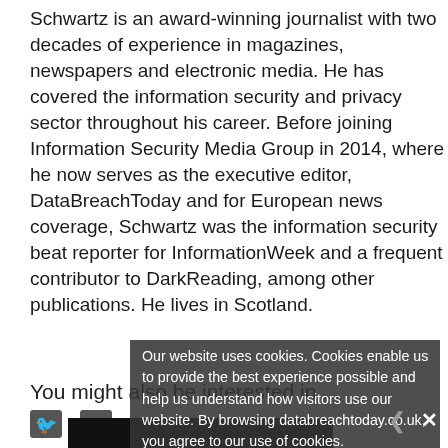Schwartz is an award-winning journalist with two decades of experience in magazines, newspapers and electronic media. He has covered the information security and privacy sector throughout his career. Before joining Information Security Media Group in 2014, where he now serves as the executive editor, DataBreachToday and for European news coverage, Schwartz was the information security beat reporter for InformationWeek and a frequent contributor to DarkReading, among other publications. He lives in Scotland.
[Figure (other): Social media icons: Twitter bird icon and email/envelope icon]
You might also be interested in ...
Our website uses cookies. Cookies enable us to provide the best experience possible and help us understand how visitors use our website. By browsing databreachtoday.co.uk, you agree to our use of cookies.
[Figure (photo): Proofpoint thumbnail image - dark background with text 'proofpoint' and 'Learning with Employees']
[Figure (infographic): Protecting Privileged Access in DevOps and Cloud Environments - thumbnail with teal/green triangle graphic]